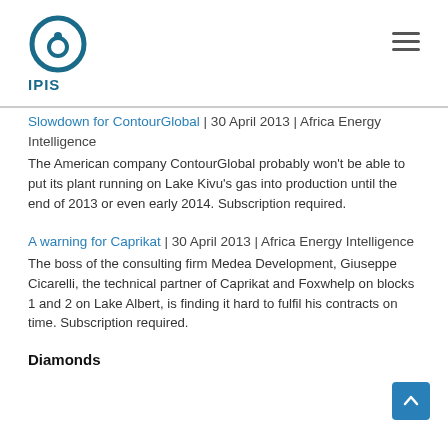IPIS
Slowdown for ContourGlobal | 30 April 2013 | Africa Energy Intelligence
The American company ContourGlobal probably won't be able to put its plant running on Lake Kivu's gas into production until the end of 2013 or even early 2014. Subscription required.
A warning for Caprikat | 30 April 2013 | Africa Energy Intelligence
The boss of the consulting firm Medea Development, Giuseppe Cicarelli, the technical partner of Caprikat and Foxwhelp on blocks 1 and 2 on Lake Albert, is finding it hard to fulfil his contracts on time. Subscription required.
Diamonds